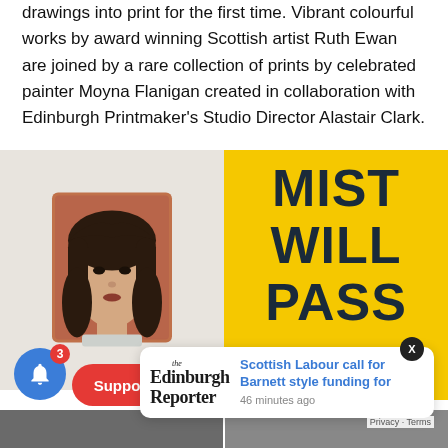drawings into print for the first time. Vibrant colourful works by award winning Scottish artist Ruth Ewan are joined by a rare collection of prints by celebrated painter Moyna Flanigan created in collaboration with Edinburgh Printmaker's Studio Director Alastair Clark.
[Figure (photo): Left: portrait print of a woman with long dark hair against a warm reddish-brown background. Right: bright yellow print with bold dark text reading 'MIST WILL PASS' (partially visible).]
[Figure (screenshot): Popup notification overlay from The Edinburgh Reporter: 'Scottish Labour call for Barnett style funding for' with timestamp '46 minutes ago'. Close X button visible. Notification bell icon with badge count 3 and partial Support button visible.]